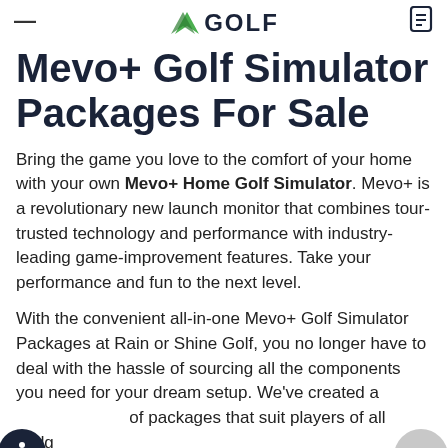— GOLF
Mevo+ Golf Simulator Packages For Sale
Bring the game you love to the comfort of your home with your own Mevo+ Home Golf Simulator. Mevo+ is a revolutionary new launch monitor that combines tour-trusted technology and performance with industry-leading game-improvement features. Take your performance and fun to the next level.
With the convenient all-in-one Mevo+ Golf Simulator Packages at Rain or Shine Golf, you no longer have to deal with the hassle of sourcing all the components you need for your dream setup. We've created a range of packages that suit players of all budgets and dreams. Whether you are looking to improve your game, spend more quality time with your family, or